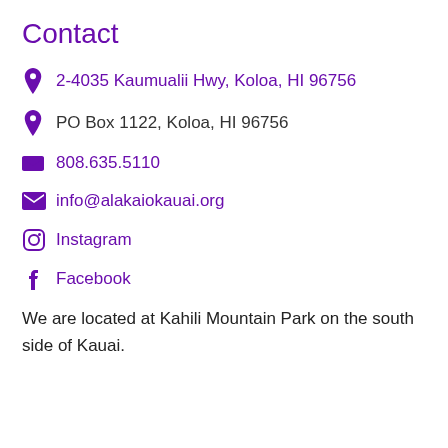Contact
2-4035 Kaumualii Hwy, Koloa, HI 96756
PO Box 1122, Koloa, HI 96756
808.635.5110
info@alakaiokauai.org
Instagram
Facebook
We are located at Kahili Mountain Park on the south side of Kauai.